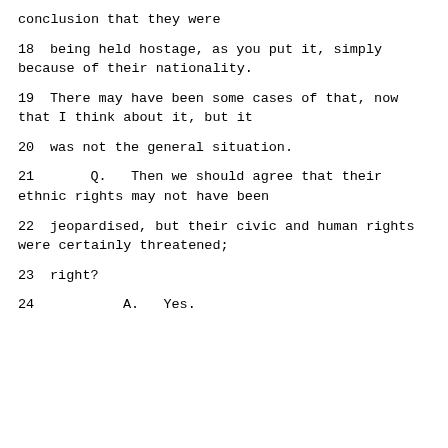conclusion that they were
18     being held hostage, as you put it, simply because of their nationality.
19     There may have been some cases of that, now that I think about it, but it
20     was not the general situation.
21     Q.   Then we should agree that their ethnic rights may not have been
22     jeopardised, but their civic and human rights were certainly threatened;
23     right?
24          A.   Yes.